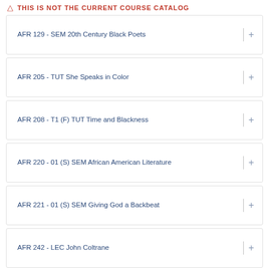THIS IS NOT THE CURRENT COURSE CATALOG
AFR 129 - SEM 20th Century Black Poets
AFR 205 - TUT She Speaks in Color
AFR 208 - T1 (F) TUT Time and Blackness
AFR 220 - 01 (S) SEM African American Literature
AFR 221 - 01 (S) SEM Giving God a Backbeat
AFR 242 - LEC John Coltrane
AFR 254 - SEM Bebop